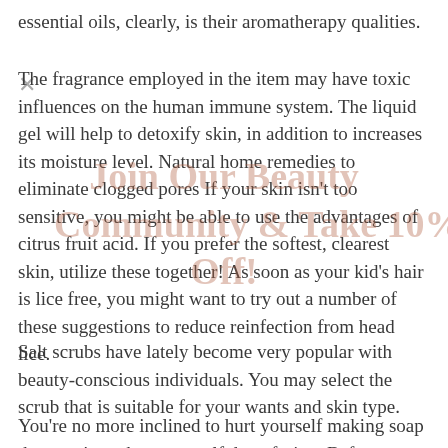essential oils, clearly, is their aromatherapy qualities.
The fragrance employed in the item may have toxic influences on the human immune system. The liquid gel will help to detoxify skin, in addition to increases its moisture level. Natural home remedies to eliminate clogged pores If your skin isn't too sensitive, you might be able to use the advantages of citrus fruit acid. If you prefer the softest, clearest skin, utilize these together! As soon as your kid's hair is lice free, you might want to try out a number of these suggestions to reduce reinfection from head lice.
Salt scrubs have lately become very popular with beauty-conscious individuals. You may select the scrub that is suitable for your wants and skin type.
You're no more inclined to hurt yourself making soap than you're to hurt yourself deep-frying. Before beginning making soap, it's a decent concept to pour